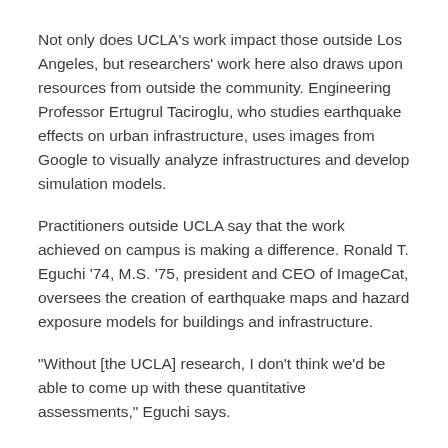Not only does UCLA's work impact those outside Los Angeles, but researchers' work here also draws upon resources from outside the community. Engineering Professor Ertugrul Taciroglu, who studies earthquake effects on urban infrastructure, uses images from Google to visually analyze infrastructures and develop simulation models.
Practitioners outside UCLA say that the work achieved on campus is making a difference. Ronald T. Eguchi '74, M.S. '75, president and CEO of ImageCat, oversees the creation of earthquake maps and hazard exposure models for buildings and infrastructure.
“Without [the UCLA] research, I don’t think we’d be able to come up with these quantitative assessments,” Eguchi says.
Tags: UCLA Magazine | UCLA 100 | Centennial